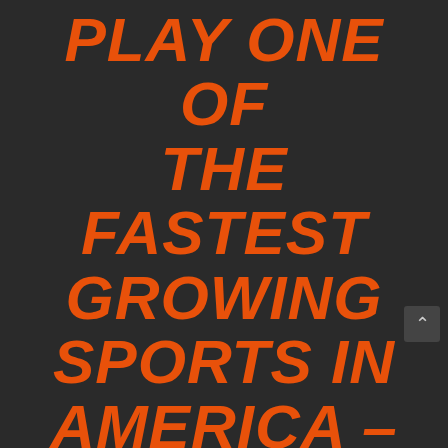PLAY ONE OF THE FASTEST GROWING SPORTS IN AMERICA – ANYWHERE!
The fast-paced game of pickleball – which looks like table tennis, if the players were shrunk down to foosball size – is quickly growing in popularity across the country. But modular surfaces have traditionally underserved pickleball players, because they were just too slick to let a plastic ball bounce